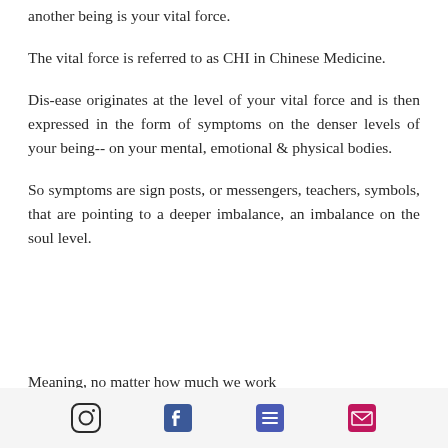another being is your vital force.
The vital force is referred to as CHI in Chinese Medicine.
Dis-ease originates at the level of your vital force and is then expressed in the form of symptoms on the denser levels of your being-- on your mental, emotional & physical bodies.
So symptoms are sign posts, or messengers, teachers, symbols, that are pointing to a deeper imbalance, an imbalance on the soul level.
Meaning, no matter how much we work
Instagram | Facebook | List | Email